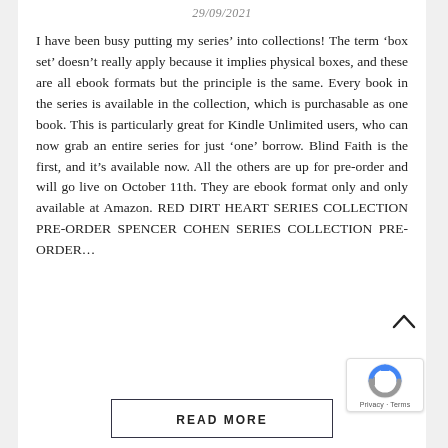29/09/2021
I have been busy putting my series’ into collections! The term ‘box set’ doesn’t really apply because it implies physical boxes, and these are all ebook formats but the principle is the same. Every book in the series is available in the collection, which is purchasable as one book. This is particularly great for Kindle Unlimited users, who can now grab an entire series for just ‘one’ borrow. Blind Faith is the first, and it’s available now. All the others are up for pre-order and will go live on October 11th. They are ebook format only and only available at Amazon. RED DIRT HEART SERIES COLLECTION PRE-ORDER SPENCER COHEN SERIES COLLECTION PRE-ORDER...
READ MORE